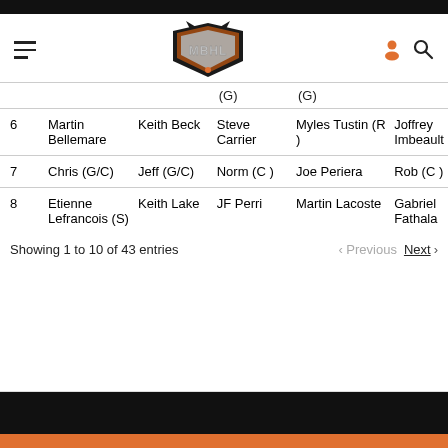[Figure (logo): MBHL league logo with shield shape and orange/silver styling]
| # | Col1 | Col2 | (G) | (G) | Col5 |
| --- | --- | --- | --- | --- | --- |
| 6 | Martin Bellemare | Keith Beck | Steve Carrier | Myles Tustin (R) | Joffrey Imbeault |
| 7 | Chris (G/C) | Jeff (G/C) | Norm (C) | Joe Periera | Rob (C) |
| 8 | Etienne Lefrancois (S) | Keith Lake | JF Perri | Martin Lacoste | Gabriel Fathala |
Showing 1 to 10 of 43 entries
Previous  Next